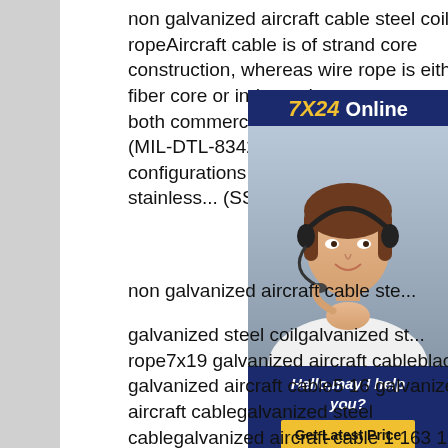non galvanized aircraft cable steel coil ropeAircraft cable is of strand core construction, whereas wire rope is either fiber core or independent rope co... supply both commercial (RR-W-4... military grade (MIL-DTL-83420) a... cable in various configurations (7... 7x19) constructed from stainless... (SSAC) or galvanized
[Figure (photo): Advertisement overlay showing a customer service representative wearing a headset. Header reads '7X24 Online' in gold and white on dark blue background. Bottom section says 'Hello,may I help you?' and a yellow 'Get Latest Price' button.]
non galvanized aircraft cable ste...
galvanized steel coilgalvanized st... rope7x19 galvanized aircraft cableblack galvanized aircraft cable5 16 galvanized aircraft cablegalvanized steel cablegalvanized aircraft cable 1 163 16 galvanized aircraft cableWire Rope, Aircraft Cable, Guy Wire Premium Quality